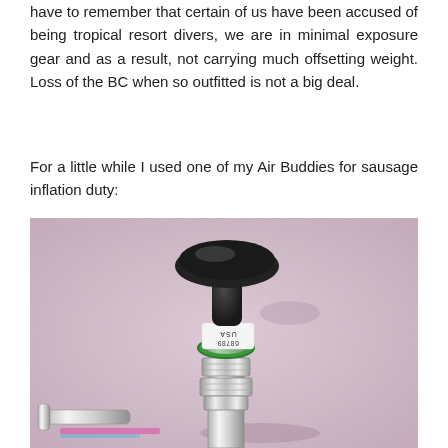have to remember that certain of us have been accused of being tropical resort divers, we are in minimal exposure gear and as a result, not carrying much offsetting weight. Loss of the BC when so outfitted is not a big deal.
For a little while I used one of my Air Buddies for sausage inflation duty:
[Figure (photo): Close-up photo of a scuba diving inflation device (Air Buddy / inflator mouthpiece) on a pink/mauve speckled surface. The device has a black rubber mouthpiece/cup at the top, a white label band reading '68781' and 'USA', a green O-ring, and chrome/metal fittings and valve hardware at the bottom.]